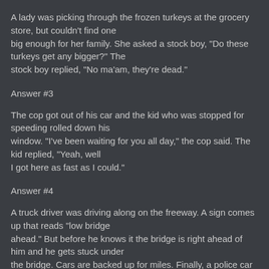A lady was picking through the frozen turkeys at the grocery store, but couldn't find one big enough for her family. She asked a stock boy, "Do these turkeys get any bigger?" The stock boy replied, "No ma'am, they're dead."
Answer #3
The cop got out of his car and the kid who was stopped for speeding rolled down his window. "I've been waiting for you all day," the cop said. The kid replied, "Yeah, well I got here as fast as I could."
Answer #4
A truck driver was driving along on the freeway. A sign comes up that reads "low bridge ahead." But before he knows it the bridge is right ahead of him and he gets stuck under the bridge. Cars are backed up for miles. Finally, a police car comes up. The cop gets out of his car and walks around to the truck driver, puts his hands on his hips and says, "Got